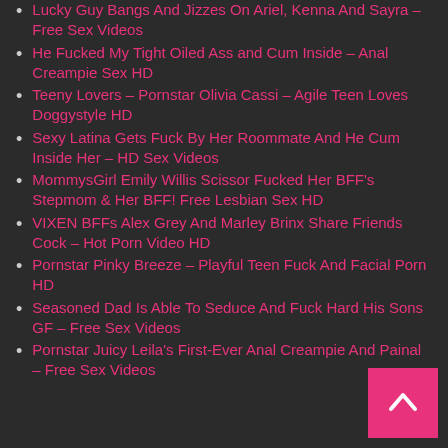Lucky Guy Bangs And Jizzes On Ariel, Kenna And Sayra – Free Sex Videos
He Fucked My Tight Oiled Ass and Cum Inside – Anal Creampie Sex HD
Teeny Lovers – Pornstar Olivia Cassi – Agile Teen Loves Doggystyle HD
Sexy Latina Gets Fuck By Her Roommate And He Cum Inside Her – HD Sex Videos
MommysGirl Emily Willis Scissor Fucked Her BFF's Stepmom & Her BFF! Free Lesbian Sex HD
VIXEN BFFs Alex Grey And Marley Brinx Share Friends Cock – Hot Porn Video HD
Pornstar Pinky Breeze – Playful Teen Fuck And Facial Porn HD
Seasoned Dad Is Able To Seduce And Fuck Hard His Sons GF – Free Sex Videos
Pornstar Juicy Leila's First-Ever Anal Creampie And Painal – Free Sex Videos